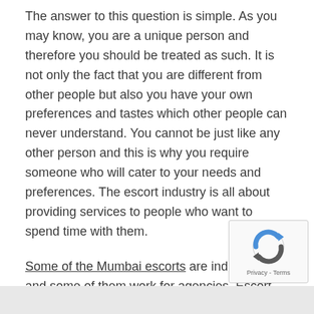The answer to this question is simple. As you may know, you are a unique person and therefore you should be treated as such. It is not only the fact that you are different from other people but also you have your own preferences and tastes which other people can never understand. You cannot be just like any other person and this is why you require someone who will cater to your needs and preferences. The escort industry is all about providing services to people who want to spend time with them.
Some of the Mumbai escorts are independent and some of them work for agencies. Escort services can be provided by both men and women, but it is rare to find a female escort that is also a star.
[Figure (other): reCAPTCHA widget with spinning arrows logo and Privacy - Terms text]